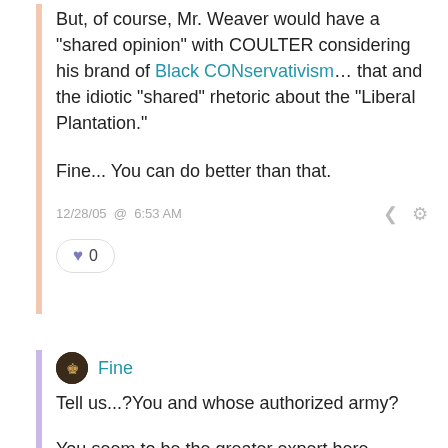But, of course, Mr. Weaver would have a "shared opinion" with COULTER considering his brand of Black CONservativism... that and the idiotic "shared" rhetoric about the "Liberal Plantation."
Fine... You can do better than that.
12/28/05 @ 6:53 AM
0
Fine
Tell us...?You and whose authorized army?
You seem to be the greater expert here Nmaginage! If I didn't know any better I would have guessed the topic was your own 'original' thought!